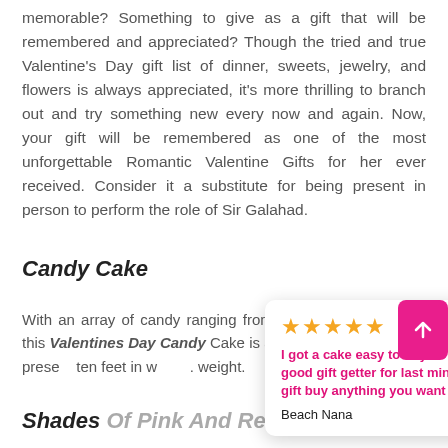memorable? Something to give as a gift that will be remembered and appreciated? Though the tried and true Valentine's Day gift list of dinner, sweets, jewelry, and flowers is always appreciated, it's more thrilling to branch out and try something new every now and again. Now, your gift will be remembered as one of the most unforgettable Romantic Valentine Gifts for her ever received. Consider it a substitute for being present in person to perform the role of Sir Galahad.
Candy Cake
With an array of candy ranging from Laffy Taffy to Skittles, this Valentines Day Candy Cake is an excellent choice for a present … ten feet in w… weight.
[Figure (other): Review popup with 5 stars and pink text: 'I got a cake easy to buy its a good gift getter for last minute gift buy anything you want' by Beach Nana, and a pink up-arrow button]
Shades Of Pink And Red Premium